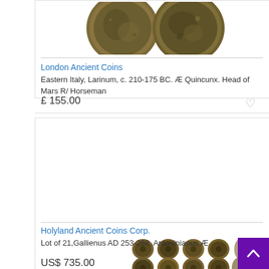[Figure (photo): Two ancient coins photographed side by side, showing patinated bronze surfaces]
London Ancient Coins
Eastern Italy, Larinum, c. 210-175 BC. Æ Quincunx. Head of Mars R/ Horseman
£ 155.00
[Figure (photo): A lot of 21 ancient bronze coins arranged in rows on a white background]
Holyland Ancient Coins Corp.
Lot of 21,Gallienus AD 253-268. Antoninianus Æ
US$ 735.00